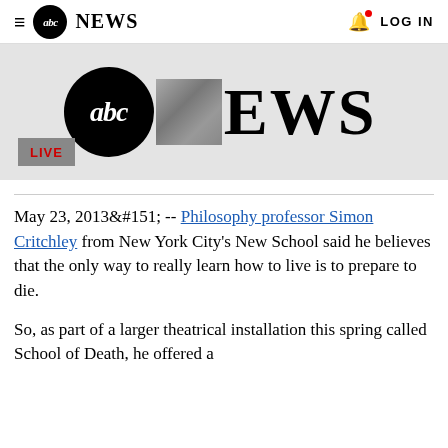≡ abc NEWS   🔔 LOG IN
[Figure (logo): ABC News logo hero image with large abc circular logo, blurred thumbnail, and NEWS text on grey background, with LIVE badge overlay]
May 23, 2013— -- Philosophy professor Simon Critchley from New York City's New School said he believes that the only way to really learn how to live is to prepare to die.
So, as part of a larger theatrical installation this spring called School of Death, he offered a